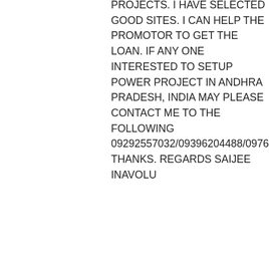PROJECTS. I HAVE SELECTED GOOD SITES. I CAN HELP THE PROMOTOR TO GET THE LOAN. IF ANY ONE INTERESTED TO SETUP POWER PROJECT IN ANDHRA PRADESH, INDIA MAY PLEASE CONTACT ME TO THE FOLLOWING 09292557032/09396204488/09764179705. THANKS. REGARDS SAIJEE INAVOLU
★ Like
↳ Reply
SAIJEE INAVOLU on December 12, 2008 at 8:21 pm
[Figure (photo): Circular avatar/logo icon for SAIJEE INAVOLU commenter]
Advertisements
[Figure (photo): Victoria's Secret advertisement banner with model photo, VS logo, and SHOP THE COLLECTION / SHOP NOW call to action]